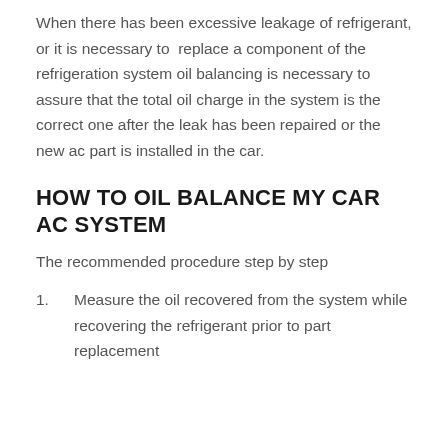When there has been excessive leakage of refrigerant, or it is necessary to replace a component of the refrigeration system oil balancing is necessary to assure that the total oil charge in the system is the correct one after the leak has been repaired or the new ac part is installed in the car.
HOW TO OIL BALANCE MY CAR AC SYSTEM
The recommended procedure step by step
Measure the oil recovered from the system while recovering the refrigerant prior to part replacement